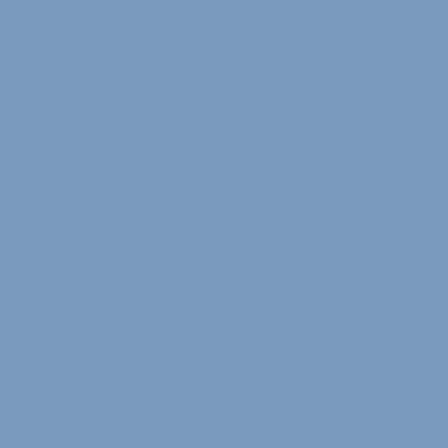just wrote a song together for Britney (Spears) and she was coming to his studio to do the song. So she was coming a couple of days later. He asked me if I'd come in and lay some vocals on those songs as well because her record needed songs. So we threw some ideas down and there was a song called "Over to You Now." I kept at it and ended up leaving my vocals on there (laughs).
P.S.: I heard the boys took you to see Motley Crue in the states for the tour.
IMOGEN: I'd just arrived and within ten minutes it was Motley Crue and you have to come." I was exhausted. But it was wicked fun. I'm glad I did it.
P.S.: I heard Tommy Lee was crushing on you.
IMOGEN: (Modestly) Oh no, it was great. I watched him while he was playing his drums and he had hardly any clothes on (laughs). Every so often he'd look back at us like, "Did you see that? D
© 2011 Pure Songwriters. All rights reserved.